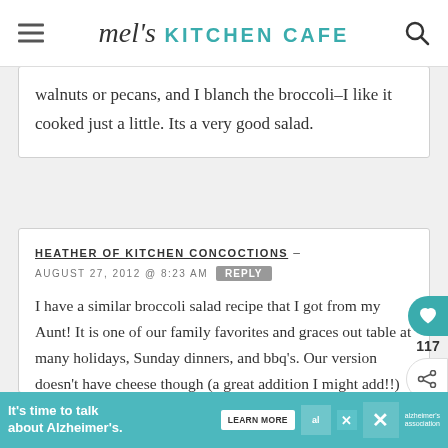mel's KITCHEN CAFE
walnuts or pecans, and I blanch the broccoli–I like it cooked just a little. Its a very good salad.
HEATHER OF KITCHEN CONCOCTIONS – AUGUST 27, 2012 @ 8:23 AM REPLY
I have a similar broccoli salad recipe that I got from my Aunt! It is one of our family favorites and graces out table at many holidays, Sunday dinners, and bbq's. Our version doesn't have cheese though (a great addition I might add!!) and I love the plump sweet golden raisins in this
It's time to talk about Alzheimer's. LEARN MORE